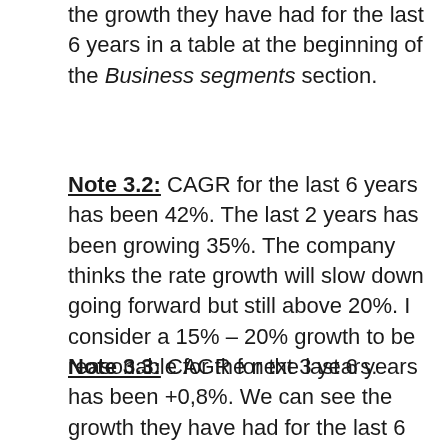the growth they have had for the last 6 years in a table at the beginning of the Business segments section.
Note 3.2: CAGR for the last 6 years has been 42%. The last 2 years has been growing 35%. The company thinks the rate growth will slow down going forward but still above 20%. I consider a 15% – 20% growth to be reasonable for the next 3 years.
Note 3.3: CAGR for the last 6 years has been +0,8%. We can see the growth they have had for the last 6 years in a